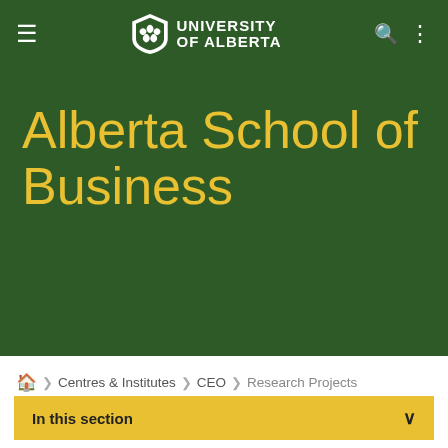UNIVERSITY OF ALBERTA
Alberta School of Business
🏠 > Centres & Institutes > CEO > Research Projects
In this section
Research Projects
The Alberta School of Business has broad and deep expertise in the fields of management science and operations research. By applying